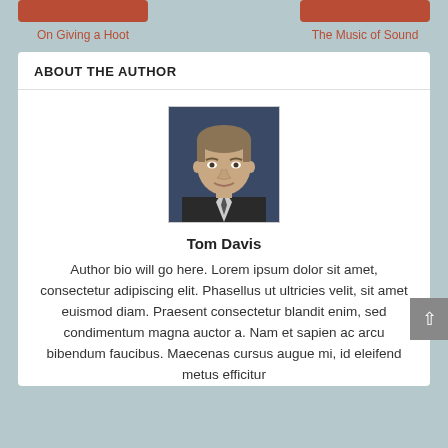On Giving a Hoot
The Music of Sound
ABOUT THE AUTHOR
[Figure (photo): Portrait photo of Tom Davis, a middle-aged man in a suit with a dark background]
Tom Davis
Author bio will go here. Lorem ipsum dolor sit amet, consectetur adipiscing elit. Phasellus ut ultricies velit, sit amet euismod diam. Praesent consectetur blandit enim, sed condimentum magna auctor a. Nam et sapien ac arcu bibendum faucibus. Maecenas cursus augue mi, id eleifend metus efficitur